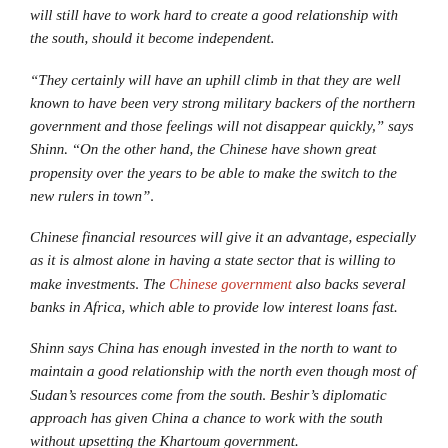will still have to work hard to create a good relationship with the south, should it become independent.
“They certainly will have an uphill climb in that they are well known to have been very strong military backers of the northern government and those feelings will not disappear quickly,” says Shinn. “On the other hand, the Chinese have shown great propensity over the years to be able to make the switch to the new rulers in town”.
Chinese financial resources will give it an advantage, especially as it is almost alone in having a state sector that is willing to make investments. The Chinese government also backs several banks in Africa, which able to provide low interest loans fast.
Shinn says China has enough invested in the north to want to maintain a good relationship with the north even though most of Sudan’s resources come from the south. Beshir’s diplomatic approach has given China a chance to work with the south without upsetting the Khartoum government.